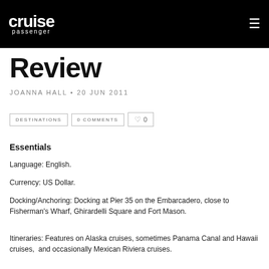cruise passenger
Review
JOANNA HALL • 20 JUN 2011
DESTINATIONS   0 COMMENTS   ♡ 0
Essentials
Language: English.
Currency: US Dollar.
Docking/Anchoring: Docking at Pier 35 on the Embarcadero, close to Fisherman's Wharf, Ghirardelli Square and Fort Mason.
Itineraries: Features on Alaska cruises, sometimes Panama Canal and Hawaii cruises,  and occasionally Mexican Riviera cruises.